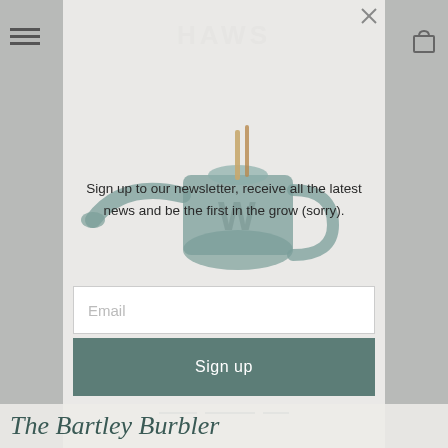[Figure (screenshot): HAWS brand website screenshot showing a newsletter sign-up modal overlay on top of a product page featuring a green watering can. The modal has an email input field and a Sign up button.]
HAWS
Sign up to our newsletter, receive all the latest news and be the first in the grow (sorry).
Email
Sign up
The Bartley Burbler